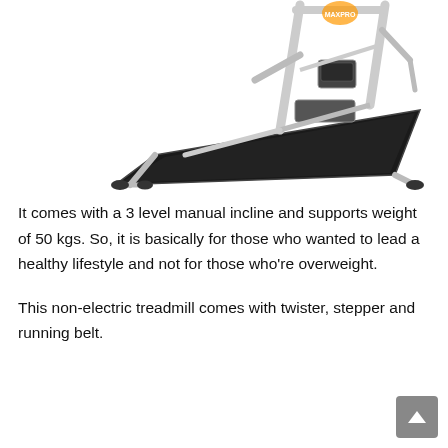[Figure (photo): A manual non-electric treadmill with multi-function features including twister, stepper and running belt. The machine has a black running belt, silver/grey frame, handlebars, and wheeled base. Shown at an angle.]
It comes with a 3 level manual incline and supports weight of 50 kgs. So, it is basically for those who wanted to lead a healthy lifestyle and not for those who're overweight.
This non-electric treadmill comes with twister, stepper and running belt.